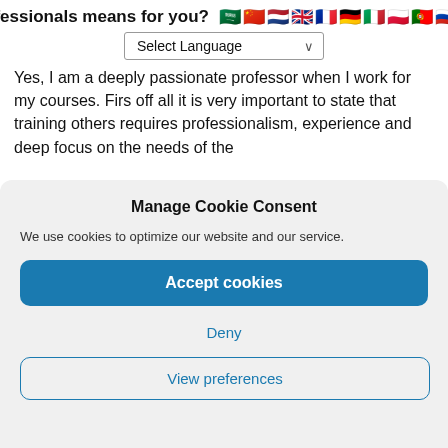professionals means for you?
[Figure (screenshot): Row of country flag icons (Arabic, Chinese, Dutch, UK, French, German, Italian, Polish, Portuguese, Russian, Spanish)]
[Figure (screenshot): Select Language dropdown widget]
Yes, I am a deeply passionate professor when I work for my courses. Firs off all it is very important to state that training others requires professionalism, experience and deep focus on the needs of the
Manage Cookie Consent
We use cookies to optimize our website and our service.
Accept cookies
Deny
View preferences